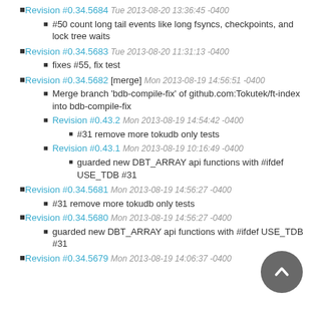Revision #0.34.5684 Tue 2013-08-20 13:36:45 -0400
#50 count long tail events like long fsyncs, checkpoints, and lock tree waits
Revision #0.34.5683 Tue 2013-08-20 11:31:13 -0400
fixes #55, fix test
Revision #0.34.5682 [merge] Mon 2013-08-19 14:56:51 -0400
Merge branch 'bdb-compile-fix' of github.com:Tokutek/ft-index into bdb-compile-fix
Revision #0.43.2 Mon 2013-08-19 14:54:42 -0400
#31 remove more tokudb only tests
Revision #0.43.1 Mon 2013-08-19 10:16:49 -0400
guarded new DBT_ARRAY api functions with #ifdef USE_TDB #31
Revision #0.34.5681 Mon 2013-08-19 14:56:27 -0400
#31 remove more tokudb only tests
Revision #0.34.5680 Mon 2013-08-19 14:56:27 -0400
guarded new DBT_ARRAY api functions with #ifdef USE_TDB #31
Revision #0.34.5679 Mon 2013-08-19 14:06:37 -0400